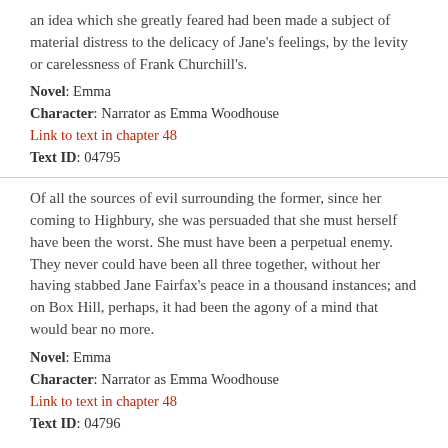an idea which she greatly feared had been made a subject of material distress to the delicacy of Jane's feelings, by the levity or carelessness of Frank Churchill's.
Novel: Emma
Character: Narrator as Emma Woodhouse
Link to text in chapter 48
Text ID: 04795
Of all the sources of evil surrounding the former, since her coming to Highbury, she was persuaded that she must herself have been the worst. She must have been a perpetual enemy. They never could have been all three together, without her having stabbed Jane Fairfax's peace in a thousand instances; and on Box Hill, perhaps, it had been the agony of a mind that would bear no more.
Novel: Emma
Character: Narrator as Emma Woodhouse
Link to text in chapter 48
Text ID: 04796